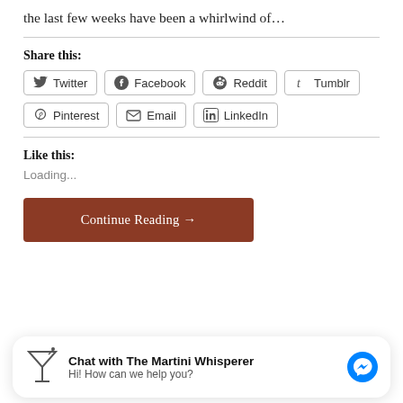the last few weeks have been a whirlwind of…
Share this:
Twitter
Facebook
Reddit
Tumblr
Pinterest
Email
LinkedIn
Like this:
Loading...
Continue Reading →
Chat with The Martini Whisperer
Hi! How can we help you?